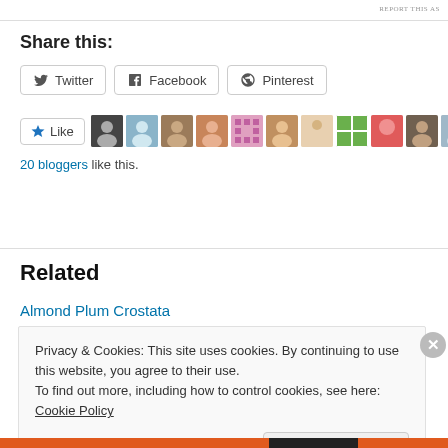REPORT THIS AS
Share this:
Twitter
Facebook
Pinterest
[Figure (other): Like button with star icon and blogger avatar thumbnails]
20 bloggers like this.
Related
Almond Plum Crostata
Privacy & Cookies: This site uses cookies. By continuing to use this website, you agree to their use.
To find out more, including how to control cookies, see here: Cookie Policy
Close and accept